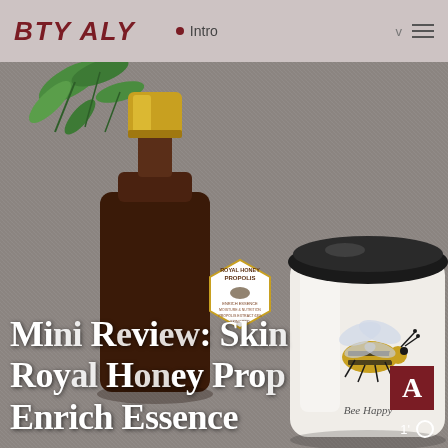BTY ALY  •  Intro
[Figure (photo): Product photo showing a dark amber bottle with gold cap labeled 'Royal Honey Propolis Enrich Essence Moisture & Nutrition' and a white ceramic jar with black lid featuring a bumblebee illustration labeled 'Bee Happy', set against a linen fabric background with green leaves]
Mini Review: Skin 1004 Royal Honey Propolis Enrich Essence
1'